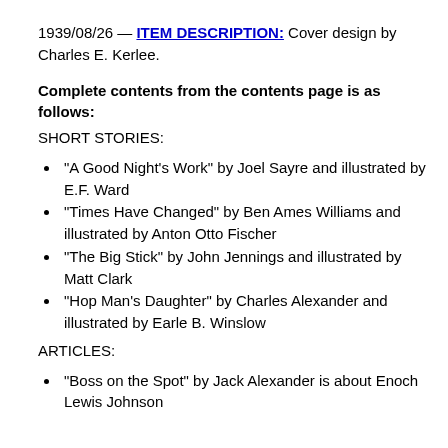1939/08/26 — ITEM DESCRIPTION: Cover design by Charles E. Kerlee.
Complete contents from the contents page is as follows:
SHORT STORIES:
“A Good Night’s Work” by Joel Sayre and illustrated by E.F. Ward
“Times Have Changed” by Ben Ames Williams and illustrated by Anton Otto Fischer
“The Big Stick” by John Jennings and illustrated by Matt Clark
“Hop Man’s Daughter” by Charles Alexander and illustrated by Earle B. Winslow
ARTICLES:
“Boss on the Spot” by Jack Alexander is about Enoch Lewis Johnson…